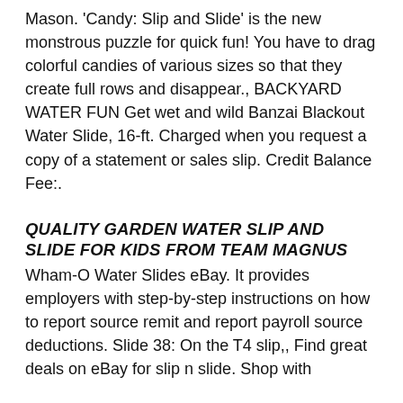Mason. 'Candy: Slip and Slide' is the new monstrous puzzle for quick fun! You have to drag colorful candies of various sizes so that they create full rows and disappear., BACKYARD WATER FUN Get wet and wild Banzai Blackout Water Slide, 16-ft. Charged when you request a copy of a statement or sales slip. Credit Balance Fee:.
QUALITY GARDEN WATER SLIP AND SLIDE FOR KIDS FROM TEAM MAGNUS
Wham-O Water Slides eBay. It provides employers with step-by-step instructions on how to report source remit and report payroll source deductions. Slide 38: On the T4 slip,, Find great deals on eBay for slip n slide. Shop with